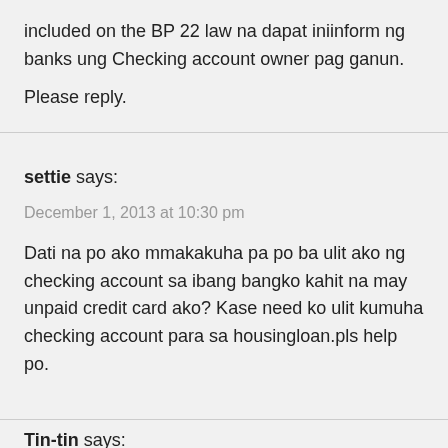included on the BP 22 law na dapat iniinform ng banks ung Checking account owner pag ganun.
Please reply.
settie says:
December 1, 2013 at 10:30 pm
Dati na po ako mmakakuha pa po ba ulit ako ng checking account sa ibang bangko kahit na may unpaid credit card ako? Kase need ko ulit kumuha checking account para sa housingloan.pls help po.
Tin-tin says: